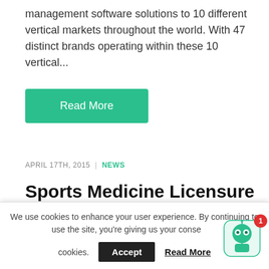management software solutions to 10 different vertical markets throughout the world. With 47 distinct brands operating within these 10 vertical...
Read More
APRIL 17TH, 2015 | NEWS
Sports Medicine Licensure Clarity Act to Help Safeguard Athletic Trainers
We use cookies to enhance your user experience. By continuing to use the site, you're giving us your consent to cookies.
Accept
Read More